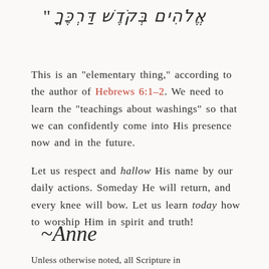“ אֱלֹהִים בְקֹדשׁ דַרְכֶך
This is an “elementary thing,” according to the author of Hebrews 6:1–2. We need to learn the “teachings about washings” so that we can confidently come into His presence now and in the future.
Let us respect and hallow His name by our daily actions. Someday He will return, and every knee will bow. Let us learn today how to worship Him in spirit and truth!
~Anne
Unless otherwise noted, all Scripture in